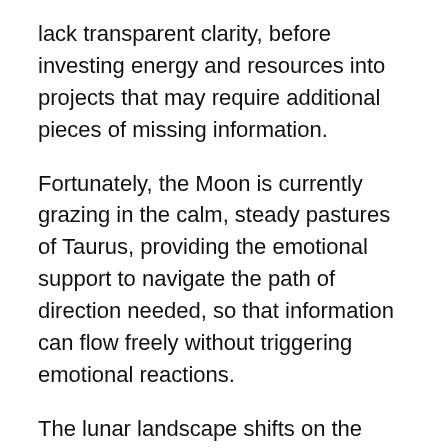lack transparent clarity, before investing energy and resources into projects that may require additional pieces of missing information.
Fortunately, the Moon is currently grazing in the calm, steady pastures of Taurus, providing the emotional support to navigate the path of direction needed, so that information can flow freely without triggering emotional reactions.
The lunar landscape shifts on the afternoon of June 8, when the Moon skips happily into airy Gemini with a playful, inquisitive nature while gathering information regarding emotional transformation so that decisions can be made about what needs to be released in preparation for the new beginning of the next nineteen years!